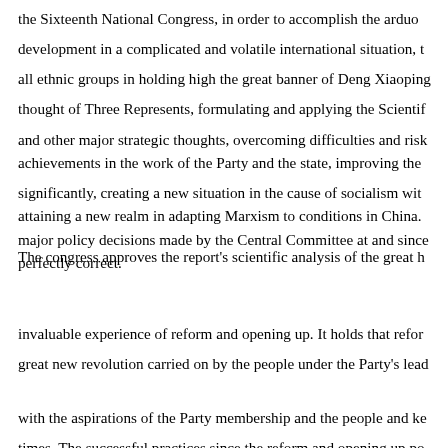the Sixteenth National Congress, in order to accomplish the arduous development in a complicated and volatile international situation, to all ethnic groups in holding high the great banner of Deng Xiaoping thought of Three Represents, formulating and applying the Scientific and other major strategic thoughts, overcoming difficulties and risks, achievements in the work of the Party and the state, improving the significantly, creating a new situation in the cause of socialism with attaining a new realm in adapting Marxism to conditions in China. The major policy decisions made by the Central Committee at and since perfectly correct.
The congress approves the report's scientific analysis of the great historical invaluable experience of reform and opening up. It holds that reform is a great new revolution carried on by the people under the Party's leadership, with the aspirations of the Party membership and the people and keeping with the times. The successful practices since the reform and opening up policy ago have incontrovertibly proved that the decision to begin reform and opening destiny of contemporary China, that reform and opening up are the only way for socialism with Chinese characteristics and bringing about the great rejuvenation nation, that only socialism can save China and that only reform and